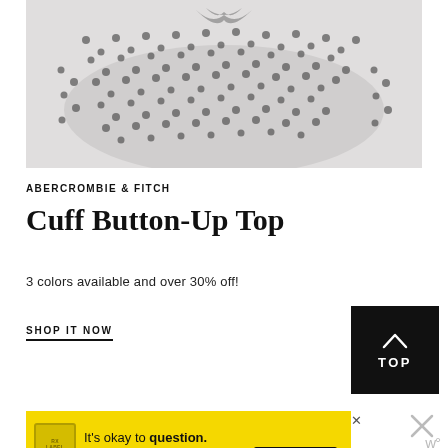[Figure (photo): Product photo of a black and white dotted/floral patterned Cuff Button-Up Top from Abercrombie & Fitch, shown laid flat on a light grey/white background.]
ABERCROMBIE & FITCH
Cuff Button-Up Top
3 colors available and over 30% off!
SHOP IT NOW
[Figure (other): Black square button with upward arrow and text TOP]
[Figure (other): Yellow advertisement banner: It's okay to question. Now get the facts on COVID-19 vaccines. GetVaccineAnswers.org]